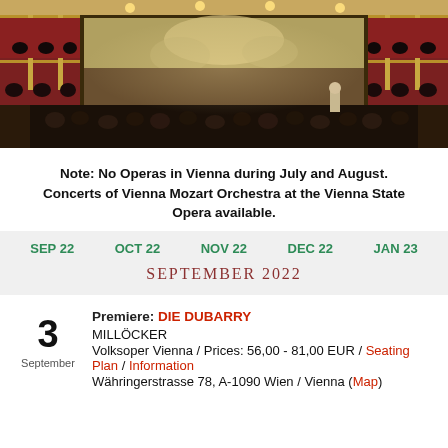[Figure (photo): Interior of the Vienna State Opera house showing the ornate stage with a large painted curtain/backdrop depicting classical figures, with audience members seated in red velvet boxes and stalls, illuminated by warm stage lighting.]
Note: No Operas in Vienna during July and August. Concerts of Vienna Mozart Orchestra at the Vienna State Opera available.
SEP 22   OCT 22   NOV 22   DEC 22   JAN 23
SEPTEMBER 2022
Premiere: DIE DUBARRY
MILLÖCKER
Volksoper Vienna / Prices: 56,00 - 81,00 EUR / Seating Plan / Information
Währingerstrasse 78, A-1090 Wien / Vienna (Map)